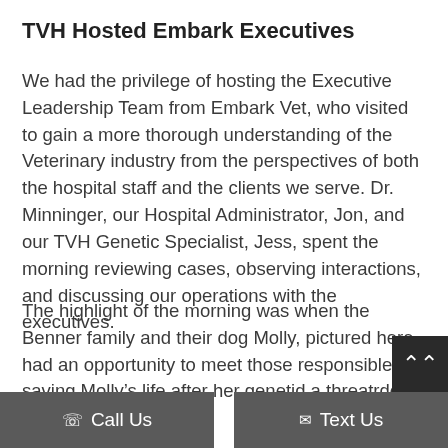TVH Hosted Embark Executives
We had the privilege of hosting the Executive Leadership Team from Embark Vet, who visited to gain a more thorough understanding of the Veterinary industry from the perspectives of both the hospital staff and the clients we serve. Dr. Minninger, our Hospital Administrator, Jon, and our TVH Genetic Specialist, Jess, spent the morning reviewing cases, observing interactions, and discussing our operations with the executives.
The highlight of the morning was when the Benner family and their dog Molly, pictured here, had an opportunity to meet those responsible for saving Molly’s life after her geneti…d a… threat…rde…